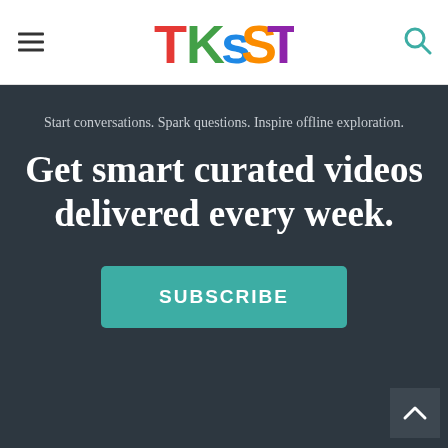TKSST (logo)
Start conversations. Spark questions. Inspire offline exploration.
Get smart curated videos delivered every week.
SUBSCRIBE